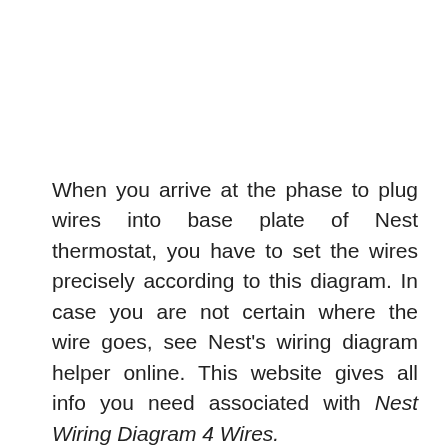When you arrive at the phase to plug wires into base plate of Nest thermostat, you have to set the wires precisely according to this diagram. In case you are not certain where the wire goes, see Nest's wiring diagram helper online. This website gives all info you need associated with Nest Wiring Diagram 4 Wires.
The wiring diagram helper will direct you which wires go to which port. To make your job easier